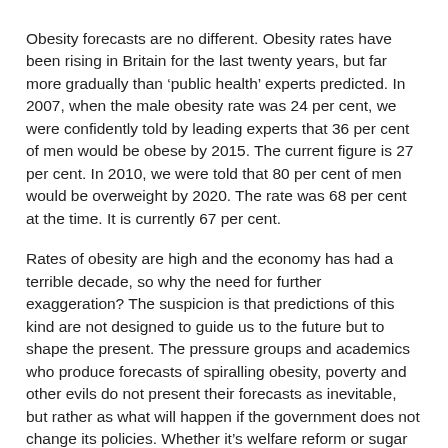Obesity forecasts are no different. Obesity rates have been rising in Britain for the last twenty years, but far more gradually than ‘public health’ experts predicted. In 2007, when the male obesity rate was 24 per cent, we were confidently told by leading experts that 36 per cent of men would be obese by 2015. The current figure is 27 per cent. In 2010, we were told that 80 per cent of men would be overweight by 2020. The rate was 68 per cent at the time. It is currently 67 per cent.
Rates of obesity are high and the economy has had a terrible decade, so why the need for further exaggeration? The suspicion is that predictions of this kind are not designed to guide us to the future but to shape the present. The pressure groups and academics who produce forecasts of spiralling obesity, poverty and other evils do not present their forecasts as inevitable, but rather as what will happen if the government does not change its policies. Whether it’s welfare reform or sugar taxes, the underlying message is political. At it happens, the government generally doesn’t change its policies and the scary outcomes still fail to